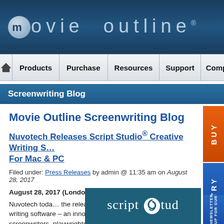movie outline
Products | Purchase | Resources | Support | Company
Screenwriting Blog
Movie Outline Screenwriting Blog
Nuvotech Releases Script Studio® Creative Writing S... For Mac & PC
Filed under: Press Releases by admin @ 11:35 am on August 28, 2017
August 28, 2017 (London, UK) – UK technology company Nuvotech toda... the release of Script Studio® creative writing software – an innovative Mac desktop application for screenwriters, playwrights and novelists.
[Figure (logo): Script Studio logo on dark teal background showing 'script' text with swirl icon and 'stud' text]